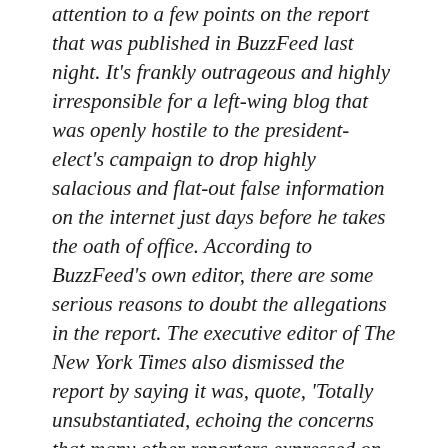attention to a few points on the report that was published in BuzzFeed last night. It's frankly outrageous and highly irresponsible for a left-wing blog that was openly hostile to the president-elect's campaign to drop highly salacious and flat-out false information on the internet just days before he takes the oath of office. According to BuzzFeed's own editor, there are some serious reasons to doubt the allegations in the report. The executive editor of The New York Times also dismissed the report by saying it was, quote, 'Totally unsubstantiated, echoing the concerns that many other reporters expressed on the internet.' The fact that BuzzFeed and CNN